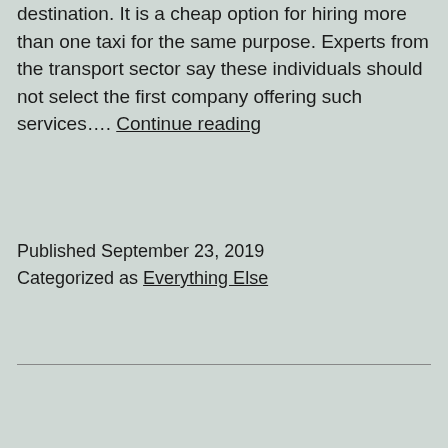destination. It is a cheap option for hiring more than one taxi for the same purpose. Experts from the transport sector say these individuals should not select the first company offering such services…. Continue reading
Published September 23, 2019
Categorized as Everything Else